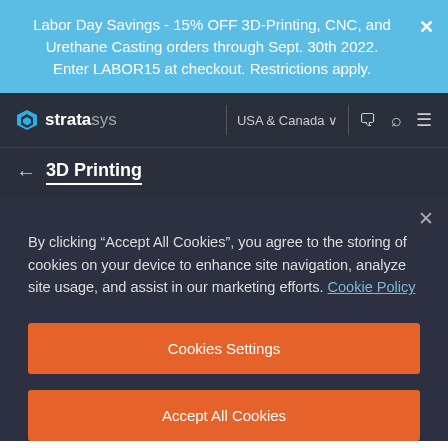Labor Day Savings - 15% OFF 3D-Printing, CNC, and Urethane Casting orders through Sept. 30th 2022. Enter LABOR15 at checkout. Restrictions apply.
[Figure (screenshot): Stratasys website navigation bar with logo, USA & Canada region selector, and icons for chat, search, and menu]
← 3D Printing
By clicking "Accept All Cookies", you agree to the storing of cookies on your device to enhance site navigation, analyze site usage, and assist in our marketing efforts. Cookie Policy
Cookies Settings
Accept All Cookies